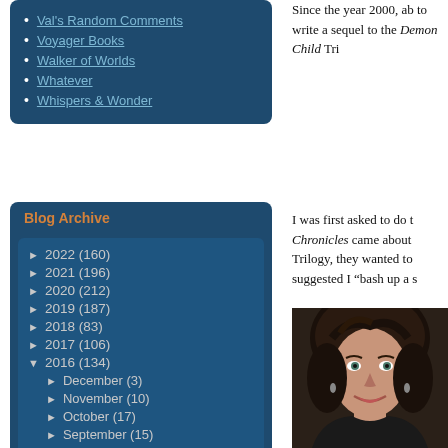Val's Random Comments
Voyager Books
Walker of Worlds
Whatever
Whispers & Wonder
Blog Archive
► 2022 (160)
► 2021 (196)
► 2020 (212)
► 2019 (187)
► 2018 (83)
► 2017 (106)
▼ 2016 (134)
► December (3)
► November (10)
► October (17)
► September (15)
► August (13)
► July (8)
Since the year 2000, ab to write a sequel to the Demon Child Tri
I was first asked to do t Chronicles came about Trilogy, they wanted to suggested I "bash up a s
[Figure (photo): Portrait photo of a woman with dark curly hair, wearing dark clothing, smiling at camera]